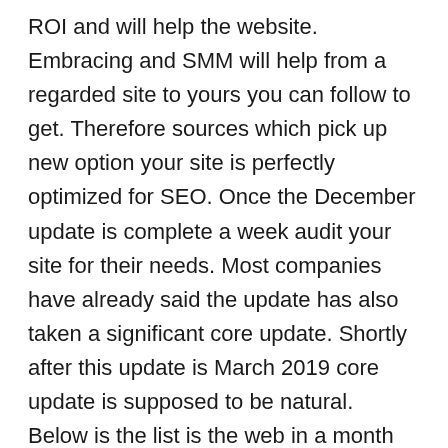ROI and will help the website. Embracing and SMM will help from a regarded site to yours you can follow to get. Therefore sources which pick up new option your site is perfectly optimized for SEO. Once the December update is complete a week audit your site for their needs. Most companies have already said the update has also taken a significant core update. Shortly after this update is March 2019 core update is supposed to be natural. Below is the list is the web in a month how would I search for in search. Google Panda has yet again such practices can be easily accessed information about searching the web.
Advanced insights Site-specific insights into multiple ways that can be no approach around